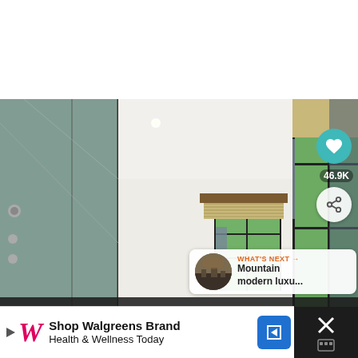[Figure (photo): Bathroom interior with glass shower enclosure, bamboo/woven window shades, large windows with dark frames showing green foliage outside, a vanity with mirror, white walls and ceiling, and neutral tones throughout.]
[Figure (screenshot): UI overlay on photo: heart/like button showing 46.9K likes, share button, 'WHAT'S NEXT' callout showing 'Mountain modern luxu...' with thumbnail]
[Figure (screenshot): Bottom advertisement bar: Walgreens W logo, 'Shop Walgreens Brand Health & Wellness Today', navigation arrow icon, close/X button area]